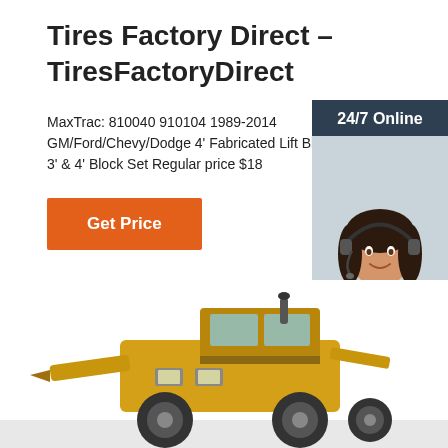Tires Factory Direct – TiresFactoryDirect
MaxTrac: 810040 910104 1989-2014 GM/Ford/Chevy/Dodge 4' Fabricated Lift Block Square, for 3' & 4' Block Set Regular price $18
Get Price
[Figure (photo): Chat widget with 24/7 Online header, woman with headset, click here for free chat! text, and QUOTATION button]
[Figure (photo): Yellow construction/industrial vehicle (grader or loader) viewed from front-left angle]